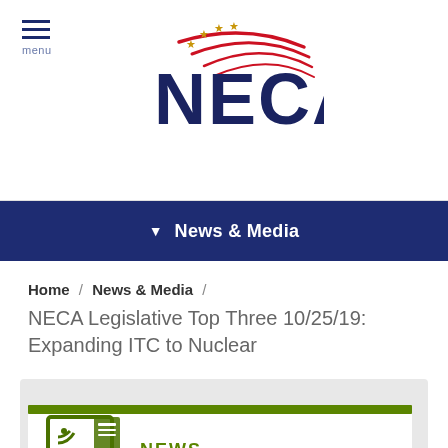[Figure (logo): NECA logo with red swoosh stripes, gold stars, and navy blue NECA text]
menu
News & Media
Home / News & Media / NECA Legislative Top Three 10/25/19: Expanding ITC to Nuclear
[Figure (illustration): News icon (newspaper with RSS symbol) in dark olive green, with NEWS label text]